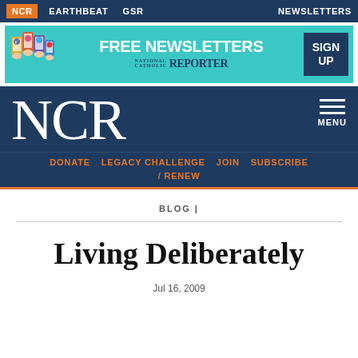NCR  EARTHBEAT  GSR  NEWSLETTERS
[Figure (infographic): Banner advertisement for NCR Free Newsletters with illustration of hands holding phones, teal background, 'FREE NEWSLETTERS' text, National Catholic Reporter logo, and 'SIGN UP' button]
NCR  MENU
DONATE  LEGACY CHALLENGE  JOIN  SUBSCRIBE / RENEW
BLOG |
Living Deliberately
Jul 16, 2009